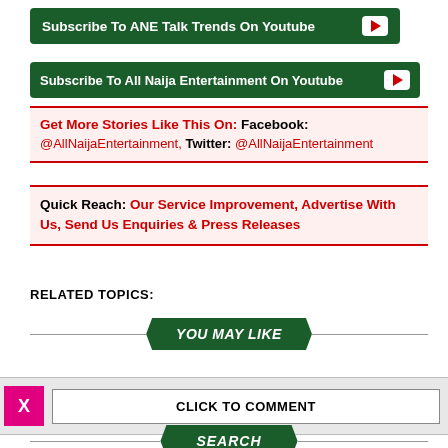Subscribe To ANE Talk Trends On Youtube
Subscribe To All Naija Entertainment On Youtube
Get More Stories Like This On: Facebook: @AllNaijaEntertainment, Twitter: @AllNaijaEntertainment
Quick Reach: Our Service Improvement, Advertise With Us, Send Us Enquiries & Press Releases
RELATED TOPICS:
YOU MAY LIKE
CLICK TO COMMENT
SEARCH